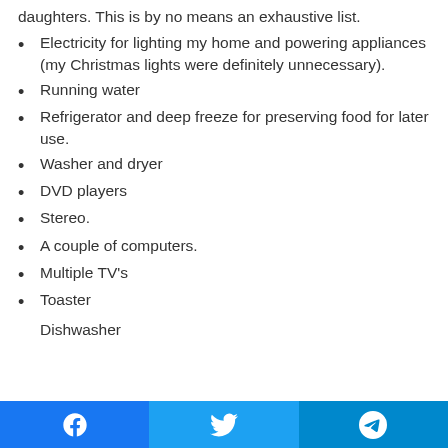daughters. This is by no means an exhaustive list.
Electricity for lighting my home and powering appliances (my Christmas lights were definitely unnecessary).
Running water
Refrigerator and deep freeze for preserving food for later use.
Washer and dryer
DVD players
Stereo.
A couple of computers.
Multiple TV's
Toaster
Dishwasher